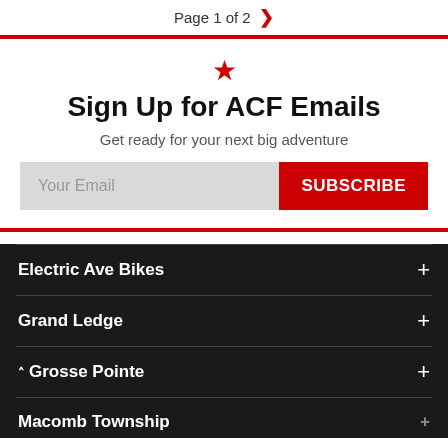Page 1 of 2  2
Sign Up for ACF Emails
Get ready for your next big adventure
Your Email  SUBSCRIBE
Electric Ave Bikes
Grand Ledge
Grosse Pointe
Macomb Township